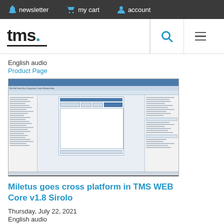newsletter   my cart   account
[Figure (logo): TMS logo with blue dot and underline]
English audio
Product Page
[Figure (screenshot): Screenshot of TMS WEB Core IDE showing a Delphi development environment with panels, toolbars, and a form designer]
Miletus goes cross platform in TMS WEB Core v1.8 Sirolo
Thursday, July 22, 2021
English audio
Product Page